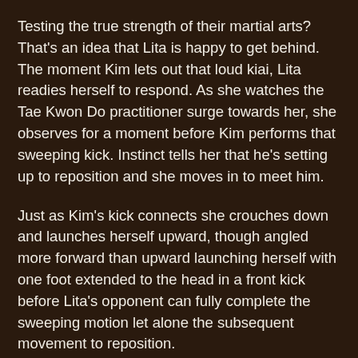Testing the true strength of their martial arts? That's an idea that Lita is happy to get behind. The moment Kim lets out that loud kiai, Lita readies herself to respond. As she watches the Tae Kwon Do practitioner surge towards her, she observes for a moment before Kim performs that sweeping kick. Instinct tells her that he's setting up to reposition and she moves in to meet him.
Just as Kim's kick connects she crouches down and launches herself upward, though angled more forward than upward launching herself with one foot extended to the head in a front kick before Lita's opponent can fully complete the sweeping motion let alone the subsequent movement to reposition.
Lita ends up landing slightly off balance and it's a testament to both Kim's skill and strength that even an incomplete kick could do that much to her foundation.